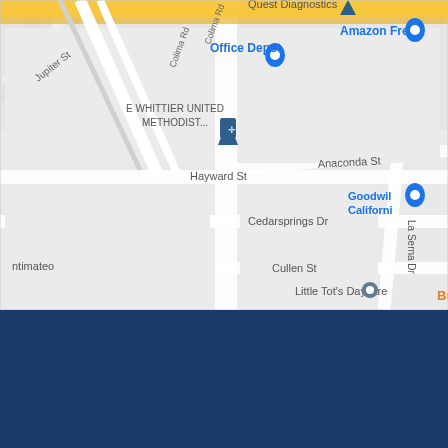[Figure (map): Google Maps screenshot showing streets including Jupiter St, Colima Rd, Hayward St, Anaconda St, Cedarsprings Dr, Cullen St, La Serna Dr. Landmarks include Quest Diagnostics, Amazon Fresh, Office Depot, Goodwill California, E Whittier United Methodist Church, Little Tot's Daycare, and a business labeled Bu. A yellow diagonal road runs in the upper right.]
ROTARY MOTTO
FOUR-WAY TEST OF THE THINGS WE THINK, SAY AND DO